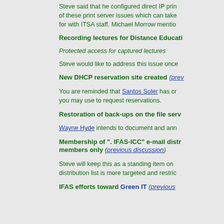Steve said that he configured direct IP printing to avoid some of these print server issues which can take a long time to get worked for with ITSA staff. Michael Morrow mention...
Recording lectures for Distance Education
Protected access for captured lectures
Steve would like to address this issue once...
New DHCP reservation site created (prev...
You are reminded that Santos Soler has created a site you may use to request reservations.
Restoration of back-ups on the file serv...
Wayne Hyde intends to document and ann...
Membership of ". IFAS-ICC" e-mail distribution... members only (previous discussion)
Steve will keep this as a standing item on distribution list is more targeted and restric...
IFAS efforts toward Green IT (previous...